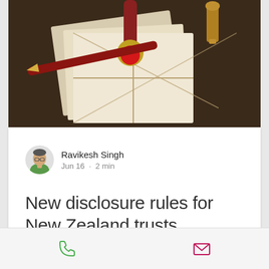[Figure (photo): Close-up photo of wax seal stamp, fountain pen, envelope with twine, and candle on a dark wooden surface — a legal/document signing themed image]
[Figure (illustration): Circular avatar illustration of Ravikesh Singh — a man in a green shirt, illustrated portrait style]
Ravikesh Singh
Jun 16 · 2 min
New disclosure rules for New Zealand trusts
The Taxation (Income Tax Rate and Other Amendments) Bill was passed last year, and this…